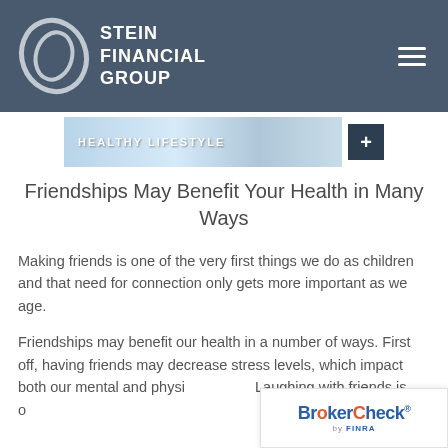[Figure (logo): Stein Financial Group logo with swoosh emblem and white text on dark blue-grey header background, with hamburger menu icon on right]
[Figure (screenshot): Healthy Lifestyle banner image showing medical professionals with text 'HEALTHY LIFESTYLE' and a dark square with white plus cross symbol]
Friendships May Benefit Your Health in Many Ways
Making friends is one of the very first things we do as children and that need for connection only gets more important as we age.
Friendships may benefit our health in a number of ways. First off, having friends may decrease stress levels, which impact both our mental and physical health. Laughing with friends is one of the forms of medicine. Friends...
[Figure (logo): BrokerCheck by FINRA logo overlay in bottom right corner]